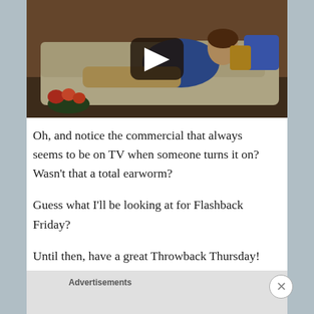[Figure (screenshot): Video thumbnail showing a person in a blue jacket lounging on a beige/cream couch with orange flowers visible at lower left. A play button overlay is centered on the image.]
Oh, and notice the commercial that always seems to be on TV when someone turns it on? Wasn't that a total earworm?
Guess what I'll be looking at for Flashback Friday?
Until then, have a great Throwback Thursday! And turn
Advertisements